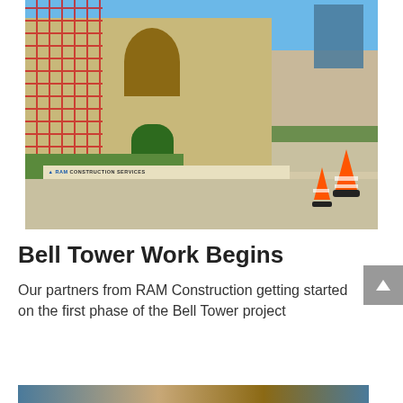[Figure (photo): Photograph of a stone church building with red scaffolding on the left side, an arched doorway entrance, shrubs in front, orange traffic cones on the right sidewalk, and modern skyscrapers visible in the background. A RAM Construction Services banner is stretched across at street level.]
Bell Tower Work Begins
Our partners from RAM Construction getting started on the first phase of the Bell Tower project